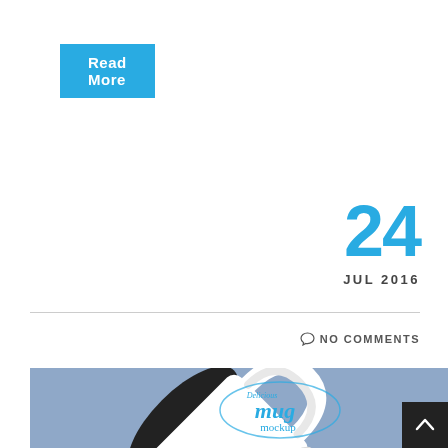Read More
24
JUL 2016
NO COMMENTS
[Figure (photo): A white ceramic mug with black interior tilted at an angle showing the 'Delicious Mug Mockup' logo on a blue-grey background]
[Figure (other): Scroll to top button with upward arrow chevron on dark background]